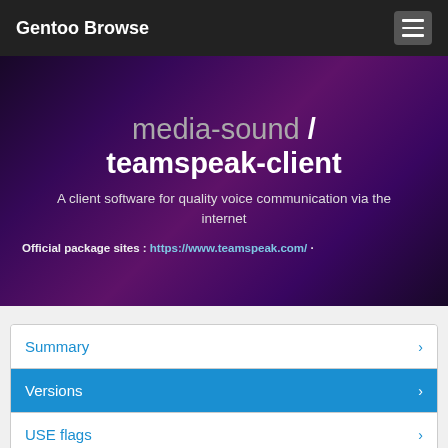Gentoo Browse
media-sound / teamspeak-client
A client software for quality voice communication via the internet
Official package sites : https://www.teamspeak.com/ ·
Summary
Versions
USE flags